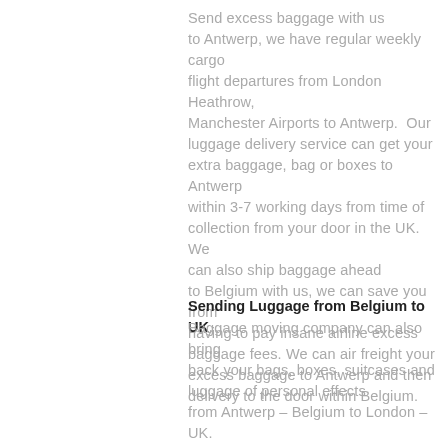Send excess baggage with us to Antwerp, we have regular weekly cargo flight departures from London Heathrow, Manchester Airports to Antwerp.  Our luggage delivery service can get your extra baggage, bag or boxes to Antwerp within 3-7 working days from time of collection from your door in the UK. We can also ship baggage ahead to Belgium with us, we can save you from having to pay insane airline excess baggage fees. We can air freight your excess baggage to Antwerp and then delivery to the door within Belgium.
Sending Luggage from Belgium to UK
Baggage moving company can also bring back your bags, boxes, suitcases and luggage of personal effects from Antwerp – Belgium to London – UK. You can send your Luggage ahead to London from Antwerp by shipping luggage from Belgium to UK with us. Please call our customer services for assistance to move your unaccompanied luggage